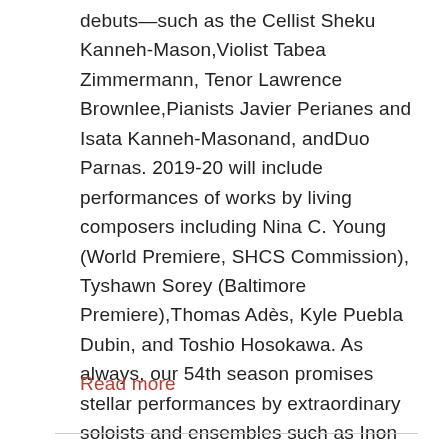debuts—such as the Cellist Sheku Kanneh-Mason,Violist Tabea Zimmermann, Tenor Lawrence Brownlee,Pianists Javier Perianes and Isata Kanneh-Masonand, andDuo Parnas. 2019-20 will include performances of works by living composers including Nina C. Young (World Premiere, SHCS Commission), Tyshawn Sorey (Baltimore Premiere),Thomas Adès, Kyle Puebla Dubin, and Toshio Hosokawa. As always, our 54th season promises stellar performances by extraordinary soloists and ensembles such as Inon Barnatan, Alban Gerhardt, Richard Goode, Midori, Javier Perianes, Jean-Yves Thibaudet, Tabea Zimmermann, Jerusalem Quartet, and the American Brass Quintet.
Read more